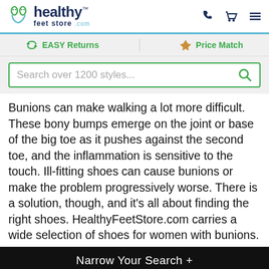healthy feet store.com
EASY Returns   Price Match
Search over 1200 styles...
Bunions can make walking a lot more difficult. These bony bumps emerge on the joint or base of the big toe as it pushes against the second toe, and the inflammation is sensitive to the touch. Ill-fitting shoes can cause bunions or make the problem progressively worse. There is a solution, though, and it's all about finding the right shoes. HealthyFeetStore.com carries a wide selection of shoes for women with bunions.
Narrow Your Search +
4.6 ★★★★★ Google Customer Reviews
Sort By: Popularity